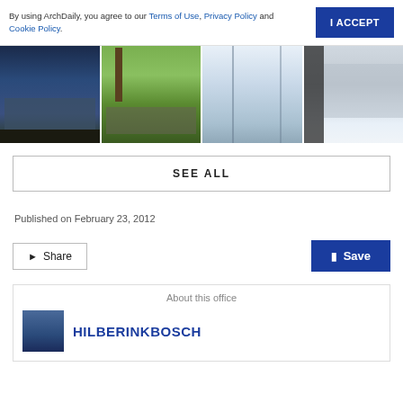By using ArchDaily, you agree to our Terms of Use, Privacy Policy and Cookie Policy.
I ACCEPT
[Figure (photo): Four architectural photos side by side: modern house at dusk, house exterior with trees, interior staircase with glass, interior staircase view]
SEE ALL
Published on February 23, 2012
Share
Save
About this office
HILBERINKBOSCH